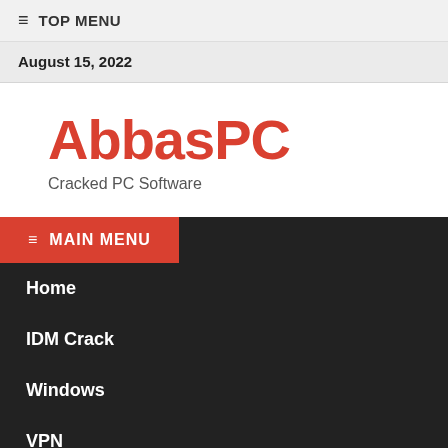≡ TOP MENU
August 15, 2022
AbbasPC
Cracked PC Software
≡ MAIN MENU
Home
IDM Crack
Windows
VPN
Antivirus